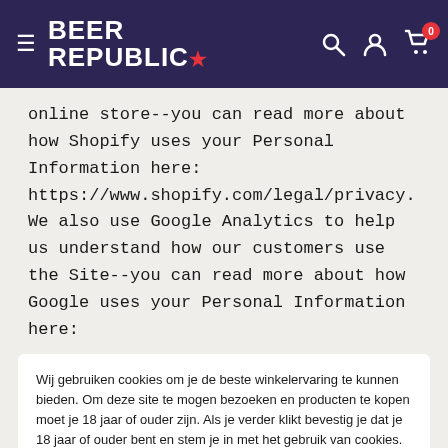BEER REPUBLIC
online store--you can read more about how Shopify uses your Personal Information here: https://www.shopify.com/legal/privacy. We also use Google Analytics to help us understand how our customers use the Site--you can read more about how Google uses your Personal Information here:
Wij gebruiken cookies om je de beste winkelervaring te kunnen bieden. Om deze site te mogen bezoeken en producten te kopen moet je 18 jaar of ouder zijn. Als je verder klikt bevestig je dat je 18 jaar of ouder bent en stem je in met het gebruik van cookies. En nu...tijd voor bier!
Begrepen!
mply with applicable laws and regulations, to